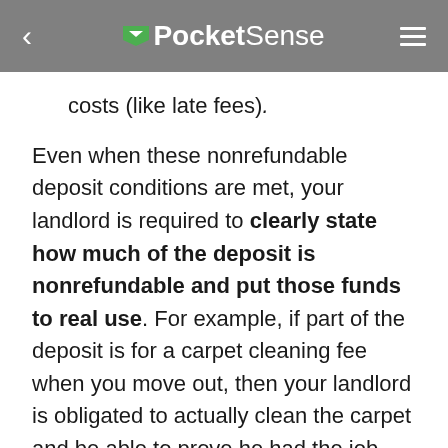PocketSense
costs (like late fees).
Even when these nonrefundable deposit conditions are met, your landlord is required to clearly state how much of the deposit is nonrefundable and put those funds to real use. For example, if part of the deposit is for a carpet cleaning fee when you move out, then your landlord is obligated to actually clean the carpet and be able to prove he had the job completed. This means you have the right to ask for a receipt for cleaning and potentially take action against the